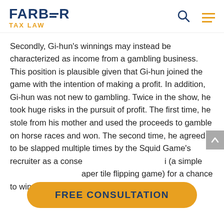FARBER TAX LAW
Secondly, Gi-hun’s winnings may instead be characterized as income from a gambling business. This position is plausible given that Gi-hun joined the game with the intention of making a profit. In addition, Gi-hun was not new to gambling. Twice in the show, he took huge risks in the pursuit of profit. The first time, he stole from his mother and used the proceeds to gamble on horse races and won. The second time, he agreed to be slapped multiple times by the Squid Game’s recruiter as a conse… ii (a simple … aper tile flipping game) for a chance to win 100,000
FREE CONSULTATION